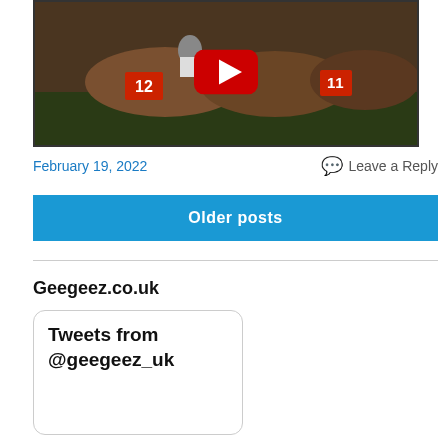[Figure (screenshot): Video thumbnail showing horse racing with YouTube play button overlay. Jockeys wearing numbered bibs (12 and 11) on horses racing.]
February 19, 2022
Leave a Reply
Older posts
Geegeez.co.uk
Tweets from @geegeez_uk